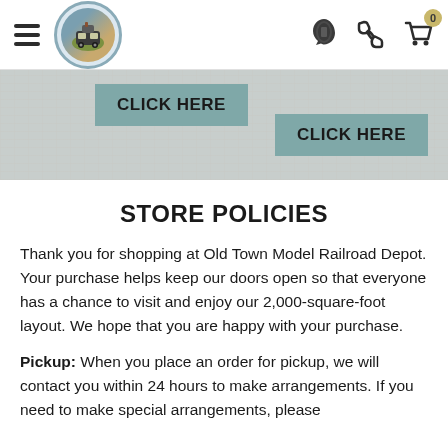[Figure (screenshot): Website header with hamburger menu, circular train logo, phone icon, and shopping cart icon with badge showing 0]
[Figure (screenshot): Banner area with textured background containing two teal 'CLICK HERE' buttons positioned at different offsets]
STORE POLICIES
Thank you for shopping at Old Town Model Railroad Depot. Your purchase helps keep our doors open so that everyone has a chance to visit and enjoy our 2,000-square-foot layout. We hope that you are happy with your purchase.
Pickup: When you place an order for pickup, we will contact you within 24 hours to make arrangements. If you need to make special arrangements, please